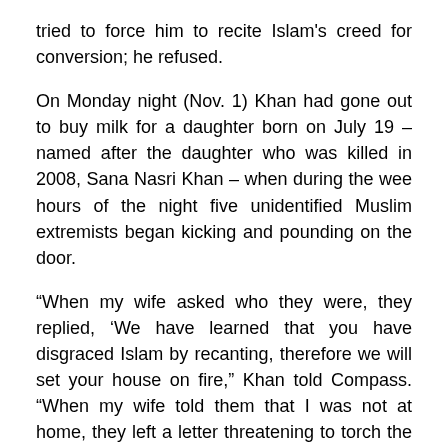tried to force him to recite Islam's creed for conversion; he refused.
On Monday night (Nov. 1) Khan had gone out to buy milk for a daughter born on July 19 – named after the daughter who was killed in 2008, Sana Nasri Khan – when during the wee hours of the night five unidentified Muslim extremists began kicking and pounding on the door.
“When my wife asked who they were, they replied, ‘We have learned that you have disgraced Islam by recanting, therefore we will set your house on fire,” Khan told Compass. “When my wife told them that I was not at home, they left a letter threatening to torch the house and kill my whole family and ordered me to recant Christianity and embrace Islam.”